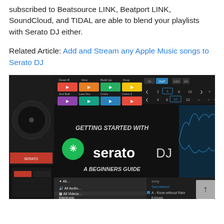subscribed to Beatsource LINK, Beatport LINK, SoundCloud, and TIDAL are able to blend your playlists with Serato DJ either.
Related Article: Add and Stream any Apple Music songs to Serato DJ
[Figure (screenshot): Screenshot of Serato DJ software interface with 'Getting Started with Serato DJ – A Beginners Guide' overlay text, showing DJ controller interface and playlist entries including 'Sundance', 'A - Rose without Rain', and 'Echoes']